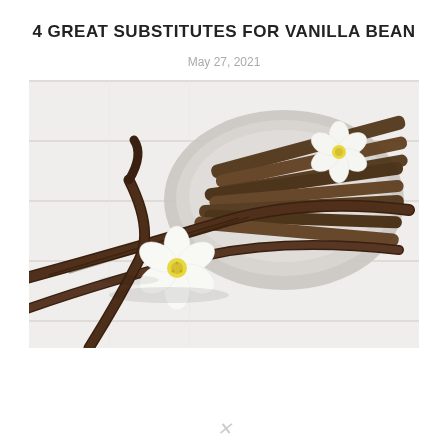4 GREAT SUBSTITUTES FOR VANILLA BEAN
May 27, 2021
[Figure (photo): Close-up photo of vanilla bean pods and white vanilla flowers arranged on a white wooden surface with a grey ceramic plate in the background.]